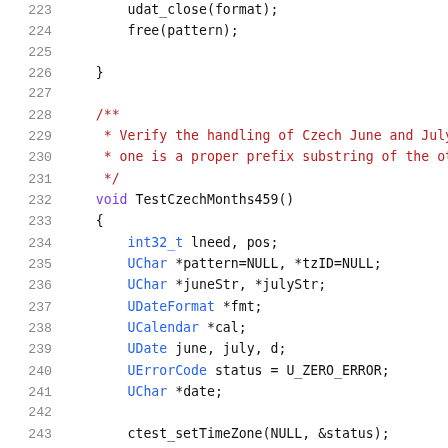Source code listing lines 223-244, C/C++ code for TestCzechMonths459 function